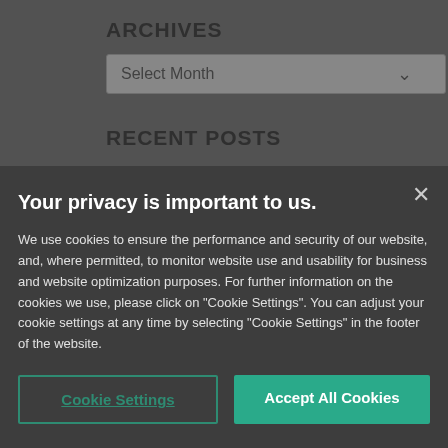ARCHIVES
[Figure (screenshot): Select Month dropdown box]
RECENT POSTS
Key Takeaways | In the Room Where It Happened
Key Takeaways | Renewables Tax Takeaways from the
Your privacy is important to us.
We use cookies to ensure the performance and security of our website, and, where permitted, to monitor website use and usability for business and website optimization purposes. For further information on the cookies we use, please click on "Cookie Settings". You can adjust your cookie settings at any time by selecting "Cookie Settings" in the footer of the website.
Cookie Settings
Accept All Cookies